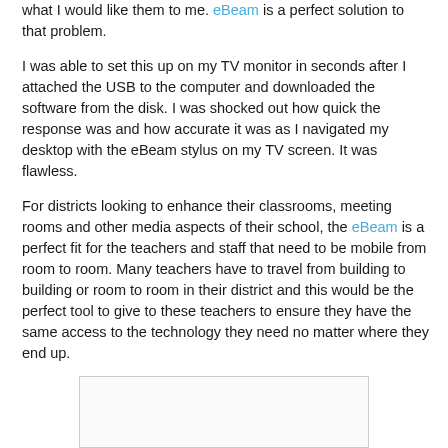what I would like them to me. eBeam is a perfect solution to that problem.
I was able to set this up on my TV monitor in seconds after I attached the USB to the computer and downloaded the software from the disk. I was shocked out how quick the response was and how accurate it was as I navigated my desktop with the eBeam stylus on my TV screen. It was flawless.
For districts looking to enhance their classrooms, meeting rooms and other media aspects of their school, the eBeam is a perfect fit for the teachers and staff that need to be mobile from room to room. Many teachers have to travel from building to building or room to room in their district and this would be the perfect tool to give to these teachers to ensure they have the same access to the technology they need no matter where they end up.
[Figure (other): Partially visible image at bottom of page, appears to be a product or scene photo with light background]